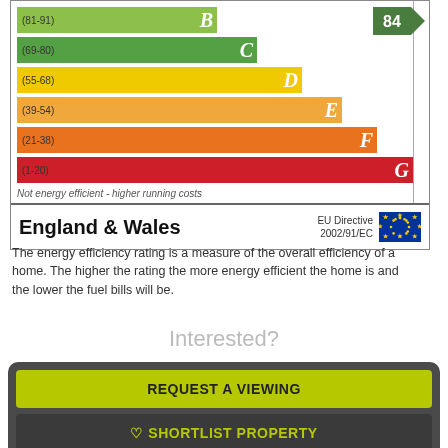[Figure (infographic): Energy Performance Certificate (EPC) rating chart for England & Wales showing bands B through G with color-coded bars. Current rating indicator arrow shows 84 (B band). Bands: B (81-91) light green, C (69-80) green, D (55-68) yellow, E (39-54) light orange, F (21-38) orange, G (1-20) red. Footer shows England & Wales and EU Directive 2002/91/EC with EU flag.]
The energy efficiency rating is a measure of the overall efficiency of a home. The higher the rating the more energy efficient the home is and the lower the fuel bills will be.
Interested?
REQUEST A VIEWING
♡ SHORTLIST PROPERTY